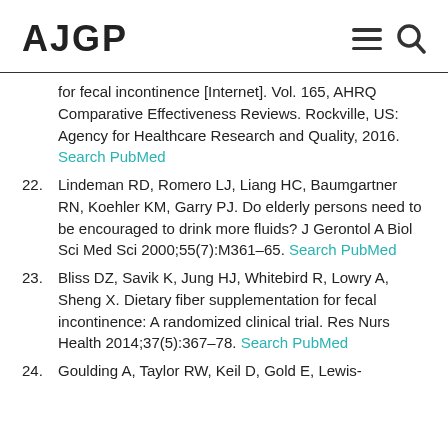AJGP
for fecal incontinence [Internet]. Vol. 165, AHRQ Comparative Effectiveness Reviews. Rockville, US: Agency for Healthcare Research and Quality, 2016. Search PubMed
22. Lindeman RD, Romero LJ, Liang HC, Baumgartner RN, Koehler KM, Garry PJ. Do elderly persons need to be encouraged to drink more fluids? J Gerontol A Biol Sci Med Sci 2000;55(7):M361–65. Search PubMed
23. Bliss DZ, Savik K, Jung HJ, Whitebird R, Lowry A, Sheng X. Dietary fiber supplementation for fecal incontinence: A randomized clinical trial. Res Nurs Health 2014;37(5):367–78. Search PubMed
24. Goulding A, Taylor RW, Keil D, Gold E, Lewis-